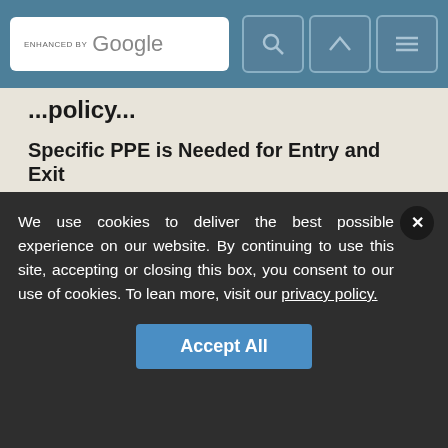[Figure (screenshot): Website navigation bar with Google enhanced search box and icon buttons for search, scroll up, and menu]
...policy...
Specific PPE is Needed for Entry and Exit
CDC Updates COVID-19 Guidelines
Initial Approval Given to Massachusetts for State Health and Safety Plan
FEATURED WHITEPAPER
We use cookies to deliver the best possible experience on our website. By continuing to use this site, accepting or closing this box, you consent to our use of cookies. To learn more, visit our privacy policy.
Accept All